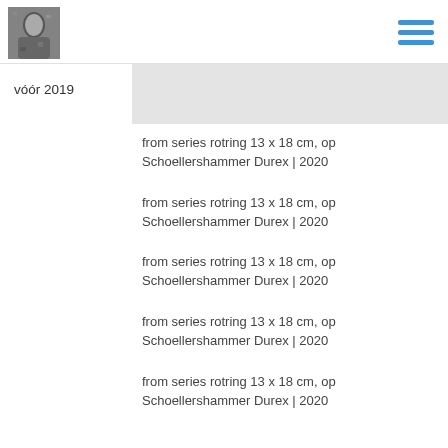[Figure (photo): Small black and white portrait photo of a person]
[Figure (illustration): Hamburger menu icon with three blue horizontal lines]
vóór 2019
[Figure (photo): Light gray placeholder image rectangle]
from series rotring 13 x 18 cm, op Schoellershammer Durex | 2020
from series rotring 13 x 18 cm, op Schoellershammer Durex | 2020
from series rotring 13 x 18 cm, op Schoellershammer Durex | 2020
from series rotring 13 x 18 cm, op Schoellershammer Durex | 2020
from series rotring 13 x 18 cm, op Schoellershammer Durex | 2020